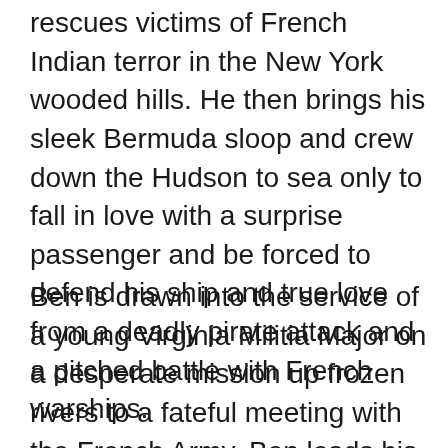rescues victims of French Indian terror in the New York wooded hills. He then brings his sleek Bermuda sloop and crew down the Hudson to sea only to fall in love with a surprise passenger and be forced to defend his ship and true love from a deadly pirate attack and a pitched battle with French warships.
Ben is drawn into the service of a young Virginia Militia Major on a desperate mission up frozen rivers to a fateful meeting with the French Army. Ben leads his First Officer, a mountain of